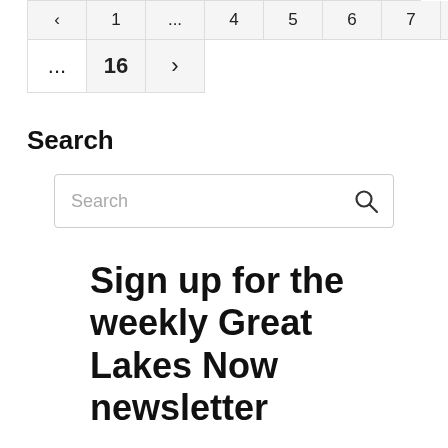| < | 1 | ... | 4 | 5 | 6 | 7 | 8 |
| --- | --- | --- | --- | --- | --- | --- | --- |
| ... | 16 | > |
Search
Search (search input box)
Sign up for the weekly Great Lakes Now newsletter